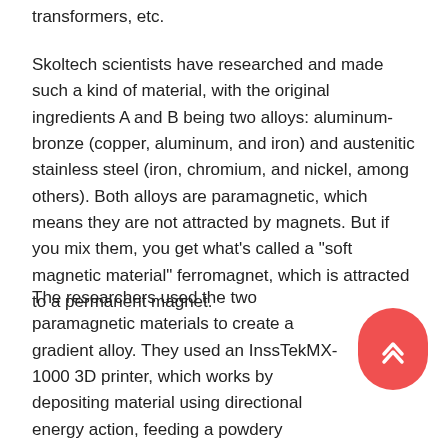transformers, etc.
Skoltech scientists have researched and made such a kind of material, with the original ingredients A and B being two alloys: aluminum-bronze (copper, aluminum, and iron) and austenitic stainless steel (iron, chromium, and nickel, among others). Both alloys are paramagnetic, which means they are not attracted by magnets. But if you mix them, you get what's called a "soft magnetic material" ferromagnet, which is attracted to a permanent magnet.
The researchers used the two paramagnetic materials to create a gradient alloy. They used an InssTekMX-1000 3D printer, which works by depositing material using directional energy action, feeding a powdery material, and melting it with a laser at the time. The resulting materials exhibit varying degrees of ferromagnetic properties, depending on the proportions of the